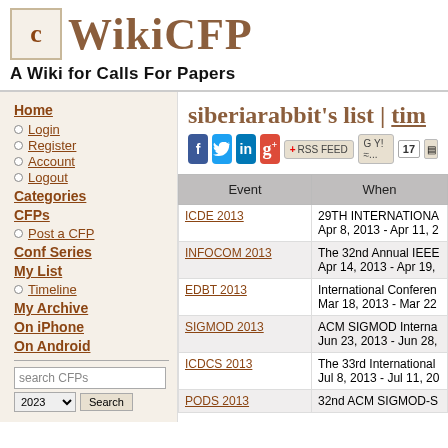[Figure (logo): WikiCFP logo with document icon and text]
A Wiki for Calls For Papers
Home
Login
Register
Account
Logout
Categories
CFPs
Post a CFP
Conf Series
My List
Timeline
My Archive
On iPhone
On Android
siberiarabbit's list | tim
| Event | When |
| --- | --- |
| ICDE 2013 | 29TH INTERNATIONA
Apr 8, 2013 - Apr 11, 2 |
| INFOCOM 2013 | The 32nd Annual IEEE
Apr 14, 2013 - Apr 19, |
| EDBT 2013 | International Conferen
Mar 18, 2013 - Mar 22 |
| SIGMOD 2013 | ACM SIGMOD Interna
Jun 23, 2013 - Jun 28, |
| ICDCS 2013 | The 33rd International
Jul 8, 2013 - Jul 11, 20 |
| PODS 2013 | 32nd ACM SIGMOD-S |